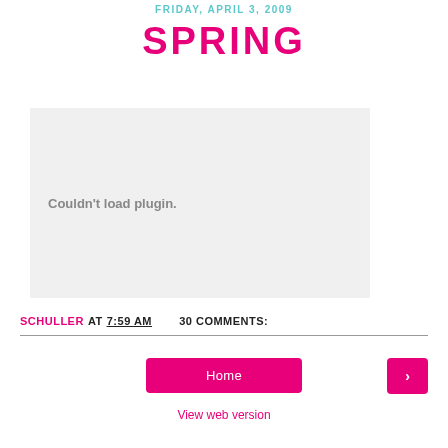FRIDAY, APRIL 3, 2009
SPRING
Couldn't load plugin.
SCHULLER AT 7:59 AM   30 COMMENTS:
Home
View web version